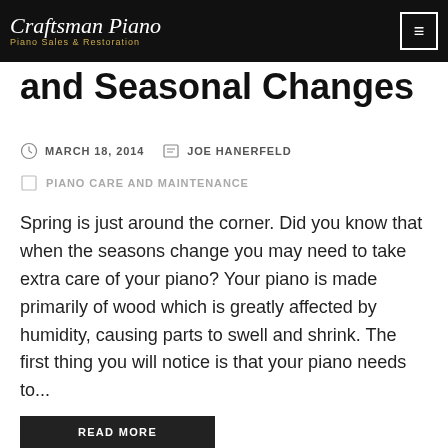Craftsman Piano — Piano Sales & Restoration
and Seasonal Changes
MARCH 18, 2014   JOE HANERFELD
PIANO CARE AND MAINTENANCE
Spring is just around the corner. Did you know that when the seasons change you may need to take extra care of your piano?  Your piano is made primarily of wood which is greatly affected by humidity, causing parts to swell and shrink.  The first thing you will notice is that your piano needs to...